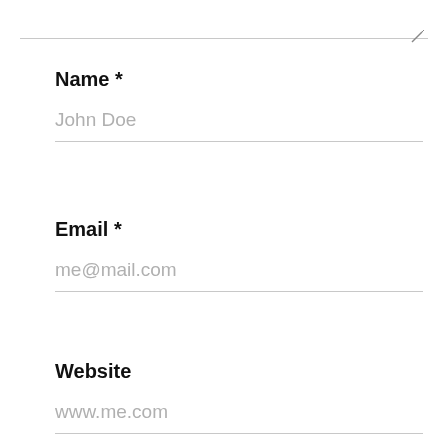Name *
John Doe
Email *
me@mail.com
Website
www.me.com